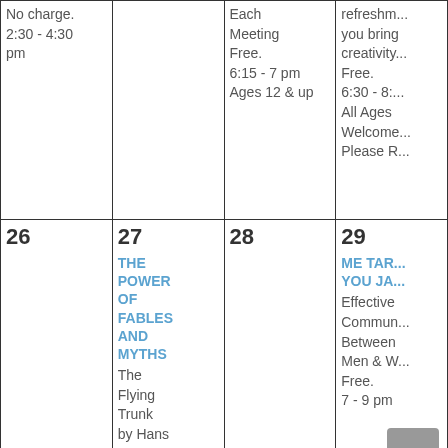| Col1 | Col2 | Col3 | Col4 |
| --- | --- | --- | --- |
| No charge. 2:30 - 4:30 pm |  | Each Meeting Free. 6:15 - 7 pm Ages 12 & up | refreshm... you bring creativity... Free. 6:30 - 8:... All Ages Welcome... Please R... |
| 26 | 27
THE POWER OF FABLES AND MYTHS
The Flying Trunk by Hans Christian Andersen | 28 | 29
ME TAR... YOU JA...
Effective Commun... Between Men & W... Free. 7 - 9 pm |